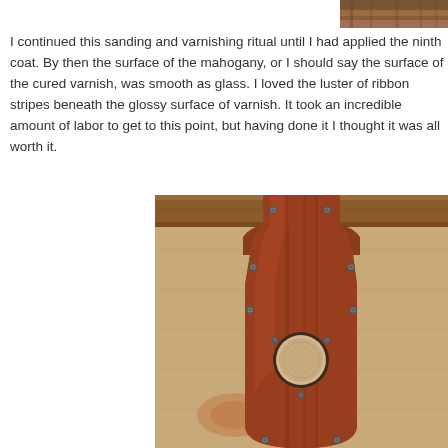[Figure (photo): Partial view of a varnished mahogany wooden piece at the top edge of the page]
I continued this sanding and varnishing ritual until I had applied the ninth coat. By then the surface of the mahogany, or I should say the surface of the cured varnish, was smooth as glass. I loved the luster of ribbon stripes beneath the glossy surface of varnish. It took an incredible amount of labor to get to this point, but having done it I thought it was all worth it.
[Figure (photo): A varnished mahogany wooden board or centerboard with a circular hole/plug, mounted on a light pine wood background with visible screws around the edges. The mahogany has a rich reddish-brown glossy finish.]